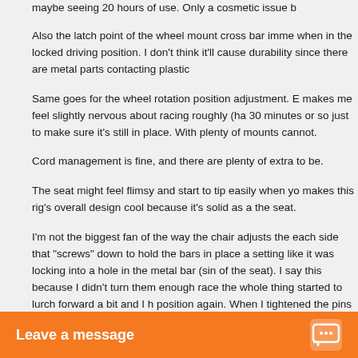maybe seeing 20 hours of use. Only a cosmetic issue b
Also the latch point of the wheel mount cross bar imme when in the locked driving position. I don't think it'll cause durability since there are metal parts contacting plastic
Same goes for the wheel rotation position adjustment. E makes me feel slightly nervous about racing roughly (ha 30 minutes or so just to make sure it's still in place. With plenty of mounts cannot.
Cord management is fine, and there are plenty of extra to be.
The seat might feel flimsy and start to tip easily when yo makes this rig's overall design cool because it's solid as a the seat.
I'm not the biggest fan of the way the chair adjusts the each side that "screws" down to hold the bars in place a setting like it was locking into a hole in the metal bar (sin of the seat). I say this because I didn't turn them enough race the whole thing started to lurch forward a bit and I h position again. When I tightened the pins down harder th break the small plastic part. And they could still come lo obvious which solves that problem. I guess just beware, n
Solid seat, but I do think this thing is kinda pricey. I got it ~$100 just get one ro seat rigs are much e a